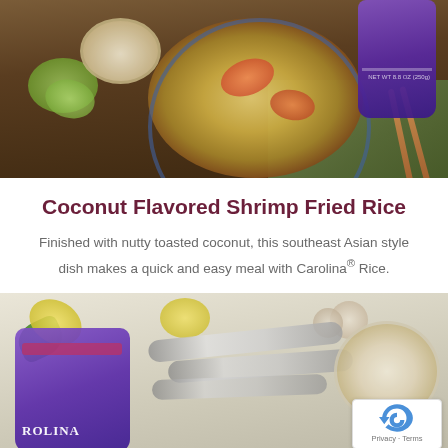[Figure (photo): Food photography showing a bowl of shrimp fried rice with chopsticks, lime wedges, a small bowl of toppings, and a purple Carolina Rice package on a wooden table background.]
Coconut Flavored Shrimp Fried Rice
Finished with nutty toasted coconut, this southeast Asian style dish makes a quick and easy meal with Carolina® Rice.
[Figure (photo): Food photography showing a Carolina Rice purple package, three silver spoons, lemon wedges, garlic cloves, basil leaves, and a bowl of food on a light wooden surface. A reCAPTCHA badge is visible in the bottom right corner.]